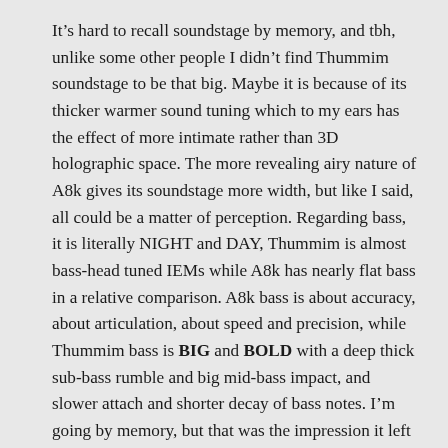It's hard to recall soundstage by memory, and tbh, unlike some other people I didn't find Thummim soundstage to be that big. Maybe it is because of its thicker warmer sound tuning which to my ears has the effect of more intimate rather than 3D holographic space. The more revealing airy nature of A8k gives its soundstage more width, but like I said, all could be a matter of perception. Regarding bass, it is literally NIGHT and DAY, Thummim is almost bass-head tuned IEMs while A8k has nearly flat bass in a relative comparison. A8k bass is about accuracy, about articulation, about speed and precision, while Thummim bass is BIG and BOLD with a deep thick sub-bass rumble and big mid-bass impact, and slower attach and shorter decay of bass notes. I'm going by memory, but that was the impression it left me with. Two completely different IEMs. Another one, Odin is fantastic, and will have more bass impact (than A8k)